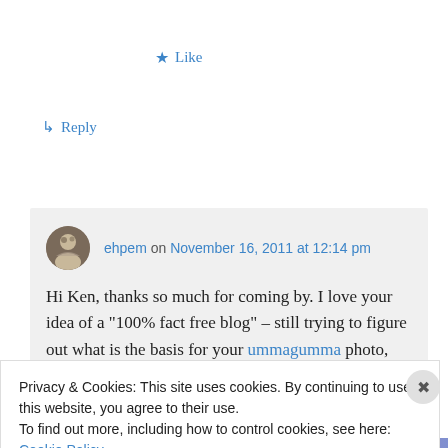★ Like
↳ Reply
ehpem on November 16, 2011 at 12:14 pm
Hi Ken, thanks so much for coming by. I love your idea of a "100% fact free blog" – still trying to figure out what is the basis for your ummagumma photo, though perhaps it does not really matter. It sure is an
Privacy & Cookies: This site uses cookies. By continuing to use this website, you agree to their use.
To find out more, including how to control cookies, see here: Cookie Policy
Close and accept